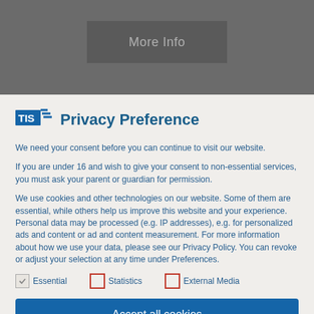[Figure (screenshot): Gray background area with a 'More Info' button]
Privacy Preference
We need your consent before you can continue to visit our website.
If you are under 16 and wish to give your consent to non-essential services, you must ask your parent or guardian for permission.
We use cookies and other technologies on our website. Some of them are essential, while others help us improve this website and your experience. Personal data may be processed (e.g. IP addresses), e.g. for personalized ads and content or ad and content measurement. For more information about how we use your data, please see our Privacy Policy. You can revoke or adjust your selection at any time under Preferences.
Essential
Statistics
External Media
Accept all cookies
Save current settings
Accept only necessary cookies